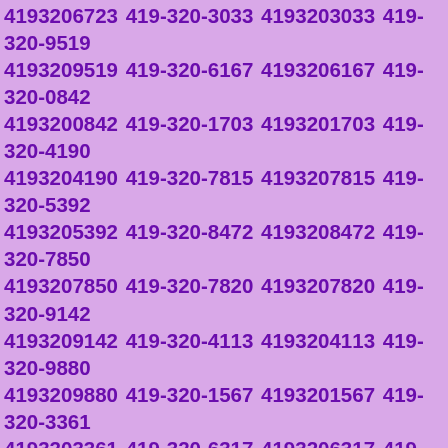4193206723 419-320-3033 4193203033 419-320-9519 4193209519 419-320-6167 4193206167 419-320-0842 4193200842 419-320-1703 4193201703 419-320-4190 4193204190 419-320-7815 4193207815 419-320-5392 4193205392 419-320-8472 4193208472 419-320-7850 4193207850 419-320-7820 4193207820 419-320-9142 4193209142 419-320-4113 4193204113 419-320-9880 4193209880 419-320-1567 4193201567 419-320-3361 4193203361 419-320-6317 4193206317 419-320-9811 4193209811 419-320-8031 4193208031 419-320-8067 4193208067 419-320-3712 4193203712 419-320-8604 4193208604 419-320-5433 4193205433 419-320-4198 4193204198 419-320-3451 4193203451 419-320-6618 4193206618 419-320-5241 4193205241 419-320-8425 4193208425 419-320-1299 4193201299 419-320-3662 4193203662 419-320-7521 4193207521 419-320-9976 4193209976 419-320-1433 4193201433 419-320-4889 4193204889 419-320-3766 4193203766 419-320-7980 4193207980 419-320-9432 4193209432 419-320-6991 4193206991 419-320-1751 4193201751 419-320-3179 4193203179 419-320-8240 4193208240 419-320-7200